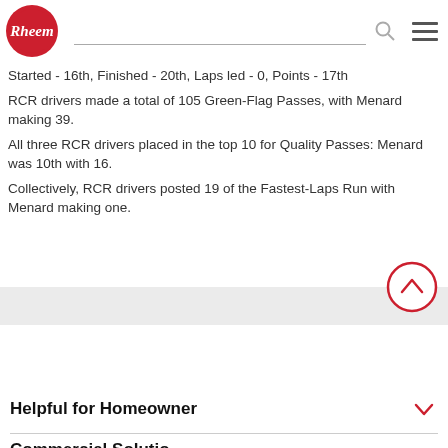[Figure (logo): Rheem logo — red circle with white italic Rheem text]
Started - 16th, Finished - 20th, Laps led - 0, Points - 17th
RCR drivers made a total of 105 Green-Flag Passes, with Menard making 39.
All three RCR drivers placed in the top 10 for Quality Passes: Menard was 10th with 16.
Collectively, RCR drivers posted 19 of the Fastest-Laps Run with Menard making one.
Helpful for Homeowner
Commercial Solutions